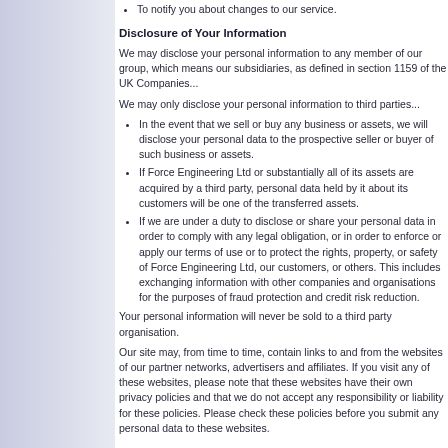To notify you about changes to our service.
Disclosure of Your Information
We may disclose your personal information to any member of our group, which means our subsidiaries, as defined in section 1159 of the UK Companies...
We may only disclose your personal information to third parties...
In the event that we sell or buy any business or assets, we will disclose your personal data to the prospective seller or buyer of such business or assets.
If Force Engineering Ltd or substantially all of its assets are acquired by a third party, personal data held by it about its customers will be one of the transferred assets.
If we are under a duty to disclose or share your personal data in order to comply with any legal obligation, or in order to enforce or apply our terms of use or to protect the rights, property, or safety of Force Engineering Ltd, our customers, or others. This includes exchanging information with other companies and organisations for the purposes of fraud protection and credit risk reduction.
Your personal information will never be sold to a third party organisation.
Our site may, from time to time, contain links to and from the websites of our partner networks, advertisers and affiliates. If you visit any of these websites, please note that these websites have their own privacy policies and that we do not accept any responsibility or liability for these policies. Please check these policies before you submit any personal data to these websites.
Access to Information
The Act gives you the right to access information held about you. Your right of access can be exercised in accordance with the Act. Any access request may be subject to a fee of £10 to meet our costs in providing you with details of the information we hold about you.
Changes to Our Privacy Policy
Any changes we may make to our privacy policy in the future will...